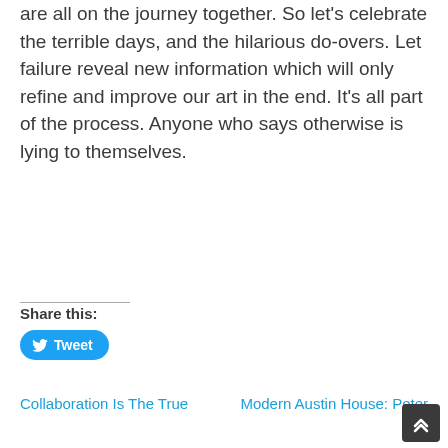are all on the journey together. So let's celebrate the terrible days, and the hilarious do-overs. Let failure reveal new information which will only refine and improve our art in the end. It's all part of the process. Anyone who says otherwise is lying to themselves.
Share this:
Tweet
Collaboration Is The True
Modern Austin House: Peter